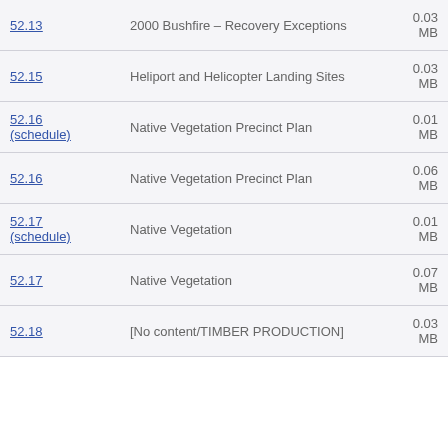| Reference | Description | Size |
| --- | --- | --- |
| 52.13 | 2000 Bushfire – Recovery Exceptions | 0.03 MB |
| 52.15 | Heliport and Helicopter Landing Sites | 0.03 MB |
| 52.16 (schedule) | Native Vegetation Precinct Plan | 0.01 MB |
| 52.16 | Native Vegetation Precinct Plan | 0.06 MB |
| 52.17 (schedule) | Native Vegetation | 0.01 MB |
| 52.17 | Native Vegetation | 0.07 MB |
| 52.18 | [No content/TIMBER PRODUCTION] | 0.03 MB |